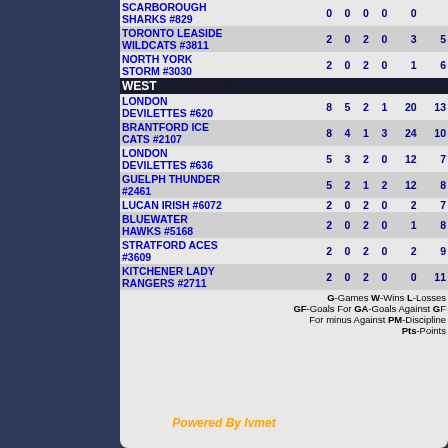| Team | G | W | L | OT | GF | GA | Pts |
| --- | --- | --- | --- | --- | --- | --- | --- |
| SCARBOROUGH SHARKS #829 | 0 | 0 | 0 | 0 | 0 |  |
| TORONTO LEASIDE WILDCATS #3811 | 2 | 0 | 2 | 0 | 3 | 5 |
| NORTH YORK STORM #3030 | 2 | 0 | 2 | 0 | 1 | 6 |
| WEST schedule |  |  |  |  |  |  |
| LONDON DEVILETTES #620 | 8 | 5 | 2 | 1 | 20 | 13 |
| BRANTFORD ICE CATS #2107 | 8 | 4 | 1 | 3 | 24 | 10 |
| LONDON DEVILETTES #636 | 5 | 3 | 2 | 0 | 12 | 7 |
| GUELPH THUNDER #2461 | 5 | 2 | 1 | 2 | 12 | 8 |
| LUCAN IRISH #6072 | 2 | 0 | 2 | 0 | 2 | 7 |
| BLUEWATER HAWKS #5168 | 2 | 0 | 2 | 0 | 1 | 8 |
| STRATFORD ACES #3609 | 2 | 0 | 2 | 0 | 2 | 9 |
| KITCHENER LADY RANGERS #2711 | 2 | 0 | 2 | 0 | 0 | 11 |
G-Games W-Wins L-Losses GF-Goals For GA-Goals Against Goals For minus Against PM-Discipline Pts-Points
Powered By lvmet